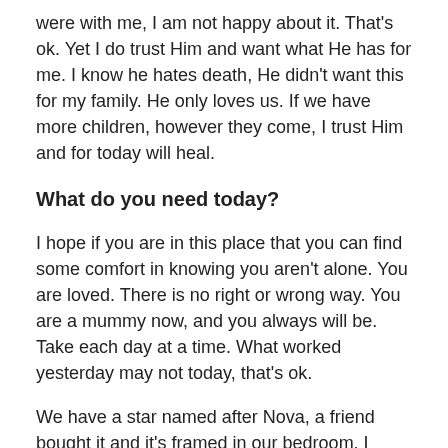were with me, I am not happy about it. That's ok. Yet I do trust Him and want what He has for me. I know he hates death, He didn't want this for my family. He only loves us. If we have more children, however they come, I trust Him and for today will heal.
What do you need today?
I hope if you are in this place that you can find some comfort in knowing you aren't alone. You are loved. There is no right or wrong way. You are a mummy now, and you always will be. Take each day at a time. What worked yesterday may not today, that's ok.
We have a star named after Nova, a friend bought it and it's framed in our bedroom. I have a bracelet with a tiny 'N' and now a tiny 'E', I have a necklace with tiny rings on it to symbolise our family, all six of us. Whatever you need, if